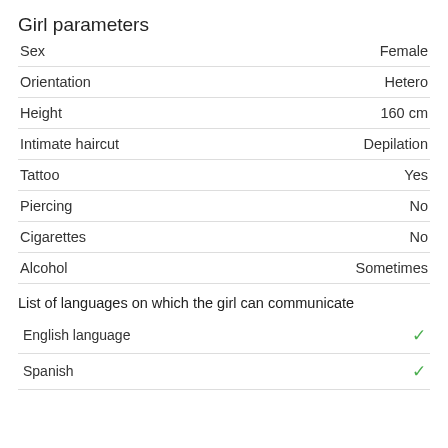Girl parameters
| Parameter | Value |
| --- | --- |
| Sex | Female |
| Orientation | Hetero |
| Height | 160 cm |
| Intimate haircut | Depilation |
| Tattoo | Yes |
| Piercing | No |
| Cigarettes | No |
| Alcohol | Sometimes |
List of languages on which the girl can communicate
| Language | Speaks |
| --- | --- |
| English language | ✓ |
| Spanish | ✓ |